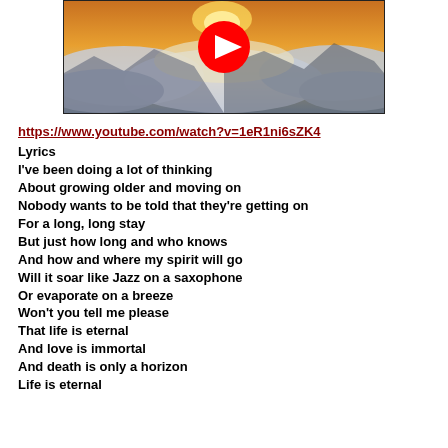[Figure (screenshot): YouTube video thumbnail showing clouds and mountains with a YouTube play button overlay]
https://www.youtube.com/watch?v=1eR1ni6sZK4
Lyrics
I've been doing a lot of thinking
About growing older and moving on
Nobody wants to be told that they're getting on
For a long, long stay
But just how long and who knows
And how and where my spirit will go
Will it soar like Jazz on a saxophone
Or evaporate on a breeze
Won't you tell me please
That life is eternal
And love is immortal
And death is only a horizon
Life is eternal